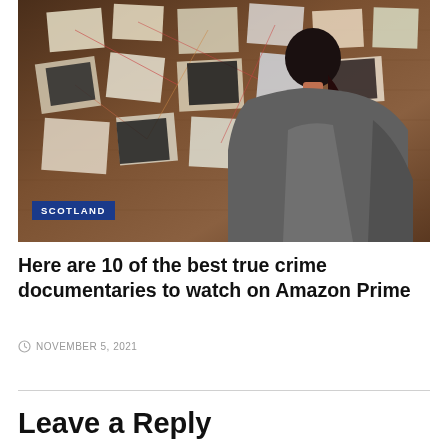[Figure (photo): A person with dark hair in a ponytail viewed from behind, looking at a cork board covered with photos, papers, notes and strings, with a 'SCOTLAND' category badge overlaid in the bottom-left corner of the image.]
Here are 10 of the best true crime documentaries to watch on Amazon Prime
NOVEMBER 5, 2021
Leave a Reply